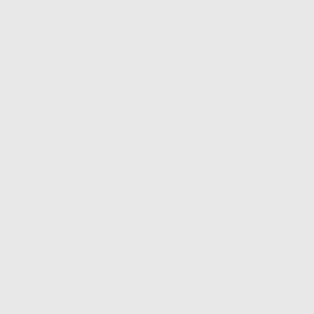mungril bitch; one whom I will b
Stew. Why, what a monstrous fe— thee?
Kint. What a brazen-fac'd varlet — heels, and beat thee before the K— sop o'th' moonshine of you; you
Stew. Away, I have nothing to do
Kent. Draw, you rascal; you com— the royalty of her father; draw, y— ways.
Stew. Help, ho! murder ! help!
Kent. Strike, you slave; stand, ro
[Beating hime Stew. Help ho!
Edm. How now, what's the matte— come on, young master.
Glo. Weapons ? aris? what's th
Corn. Keep peace, upon your liv
Reg. The messengers from our fi
« Anterior